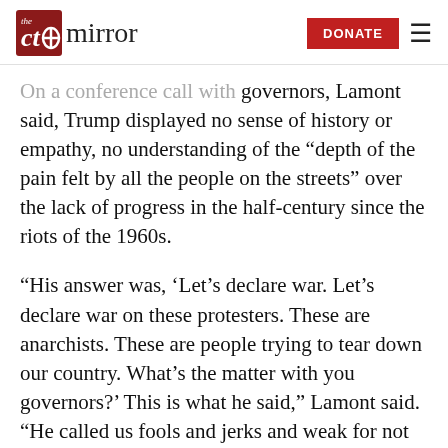The CT Mirror — DONATE
On a conference call with governors, Lamont said, Trump displayed no sense of history or empathy, no understanding of the “depth of the pain felt by all the people on the streets” over the lack of progress in the half-century since the riots of the 1960s.
“His answer was, ‘Let’s declare war. Let’s declare war on these protesters. These are anarchists. These are people trying to tear down our country. What’s the matter with you governors?’ This is what he said,” Lamont said. “He called us fools and jerks and weak for not